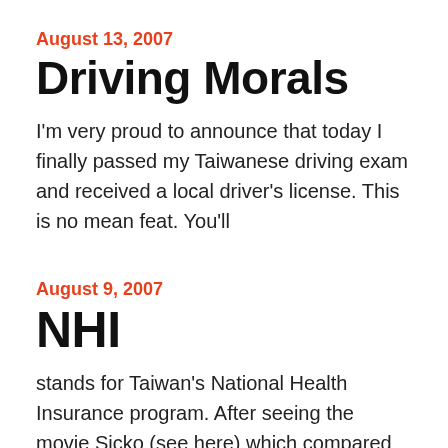August 13, 2007
Driving Morals
I'm very proud to announce that today I finally passed my Taiwanese driving exam and received a local driver's license. This is no mean feat. You'll
August 9, 2007
NHI
stands for Taiwan's National Health Insurance program. After seeing the movie Sicko (see here) which compared US healthcare to that in several